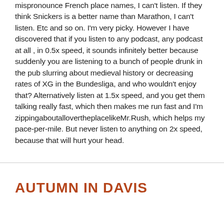mispronounce French place names, I can't listen. If they think Snickers is a better name than Marathon, I can't listen. Etc and so on. I'm very picky. However I have discovered that if you listen to any podcast, any podcast at all , in 0.5x speed, it sounds infinitely better because suddenly you are listening to a bunch of people drunk in the pub slurring about medieval history or decreasing rates of XG in the Bundesliga, and who wouldn't enjoy that? Alternatively listen at 1.5x speed, and you get them talking really fast, which then makes me run fast and I'm zippingaboutallovertheplaceli​keMr.Rush, which helps my pace-per-mile. But never listen to anything on 2x speed, because that will hurt your head.
AUTUMN IN DAVIS